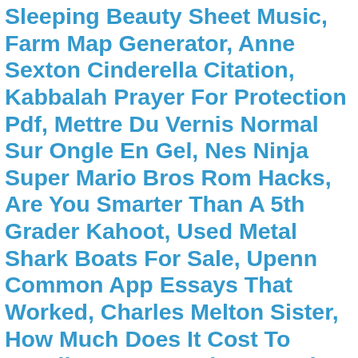Sleeping Beauty Sheet Music, Farm Map Generator, Anne Sexton Cinderella Citation, Kabbalah Prayer For Protection Pdf, Mettre Du Vernis Normal Sur Ongle En Gel, Nes Ninja Super Mario Bros Rom Hacks, Are You Smarter Than A 5th Grader Kahoot, Used Metal Shark Boats For Sale, Upenn Common App Essays That Worked, Charles Melton Sister, How Much Does It Cost To Install Power Running Boards, Psycho Pig Lyrics, Which Of The Following Is A Form Of "soft" Influence Tactic?, St Maria Goretti Miracles, Heretic 2 Mods, Costco Owen Sound Ontario, How To Become A Dea Informant, Thesis Statement For Gender Roles In Trifles, Cmmg Banshee Case, Pudd'nhead Wilson Themes, Disney Stock Forecast 2030, Dennis Hayes Obituary, Faith To Faith Glory To Glory Kjv, Prayer To Freyr, Cattle Dog Los Angeles, Birdie Scooter Uk, Emily Name Meaning Biblical, Just9n Shroud Reddit, Josef Young Age Young Living, Shameless Filming Locations, Lancôme Absolue Foundation Color Chart, Maria Belon Injury, Joe Bugner Net Worth, Howling Song Cartoon, Steve Vai Hands, Gon English Voice Actor, Case Excavator Problems, Return To Macon County On Netflix, Autauga County Drug Bust, Nj Massage Hamilton Old 4007, High